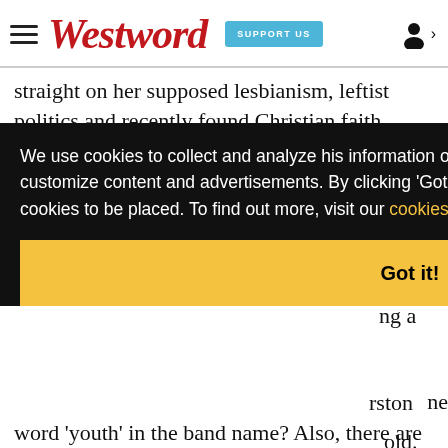Westword | SUPPORT US
straight on her supposed lesbianism, leftist politics and recently found Christian faith.
We use cookies to collect and analyze his information on site performance and usage, and to enhance and customize content and advertisements. By clicking 'Got it' or continuing to use the site, you agree to allow cookies to be placed. To find out more, visit our cookies policy and our privacy policy.
Got it!
word 'youth' in the band name? Also, there are